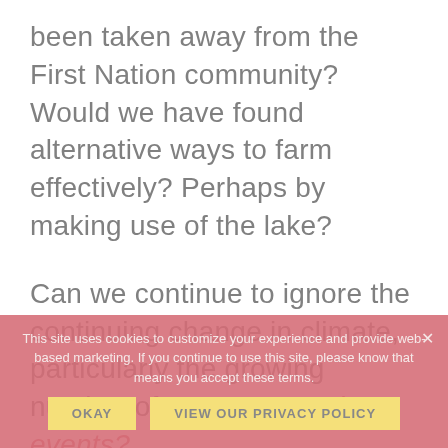been taken away from the First Nation community? Would we have found alternative ways to farm effectively? Perhaps by making use of the lake?
Can we continue to ignore the continuing change in climate, particularly the growing number of extreme weather events?
And the biggest question: what should we do now?
This site uses cookies to customize your experience and provide web-based marketing. If you continue to use this site, please know that means you accept these terms.
OKAY
VIEW OUR PRIVACY POLICY